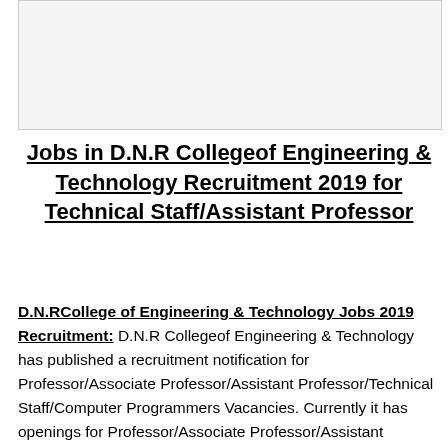[Figure (other): Blank image placeholder box at the top of the page]
Jobs in D.N.R Collegeof Engineering & Technology Recruitment 2019 for Technical Staff/Assistant Professor
D.N.RCollege of Engineering & Technology Jobs 2019 Recruitment: D.N.R Collegeof Engineering & Technology has published a recruitment notification for Professor/Associate Professor/Assistant Professor/Technical Staff/Computer Programmers Vacancies. Currently it has openings for Professor/Associate Professor/Assistant Professor Posts and T.P.O Trainers